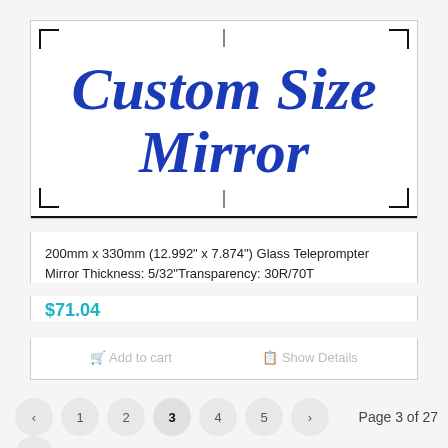Custom Size Mirror
200mm x 330mm (12.992" x 7.874") Glass Teleprompter Mirror Thickness: 5/32"Transparency: 30R/70T
$71.04
Add to cart   Show Details
‹ 1 2 3 4 5 › Page 3 of 27 »